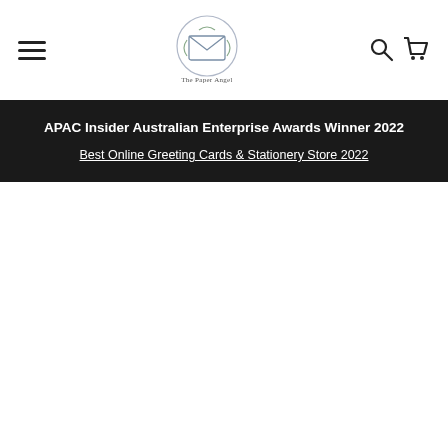The Paper Angel — navigation header with hamburger menu, logo, search and cart icons
APAC Insider Australian Enterprise Awards Winner 2022
Best Online Greeting Cards & Stationery Store 2022